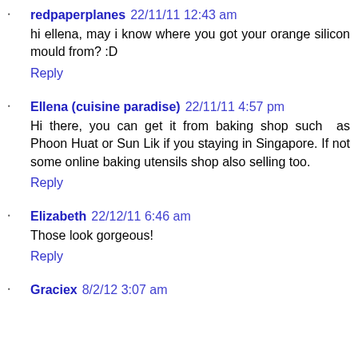redpaperplanes 22/11/11 12:43 am
hi ellena, may i know where you got your orange silicon mould from? :D
Reply
Ellena (cuisine paradise) 22/11/11 4:57 pm
Hi there, you can get it from baking shop such as Phoon Huat or Sun Lik if you staying in Singapore. If not some online baking utensils shop also selling too.
Reply
Elizabeth 22/12/11 6:46 am
Those look gorgeous!
Reply
Graciex 8/2/12 3:07 am